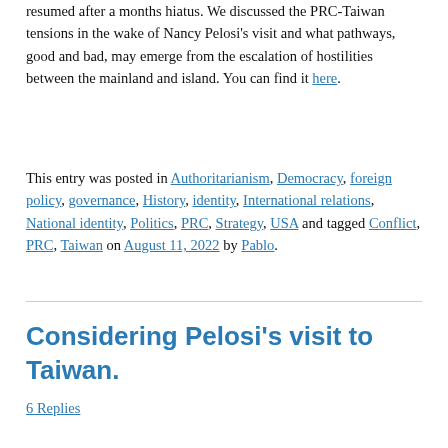resumed after a months hiatus. We discussed the PRC-Taiwan tensions in the wake of Nancy Pelosi's visit and what pathways, good and bad, may emerge from the escalation of hostilities between the mainland and island. You can find it here.
This entry was posted in Authoritarianism, Democracy, foreign policy, governance, History, identity, International relations, National identity, Politics, PRC, Strategy, USA and tagged Conflict, PRC, Taiwan on August 11, 2022 by Pablo.
Considering Pelosi's visit to Taiwan.
6 Replies